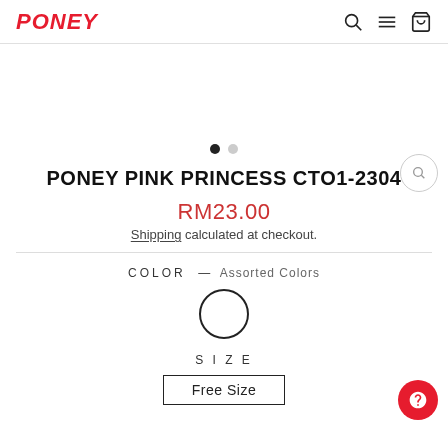PONEY
PONEY PINK PRINCESS CTO1-2304
RM23.00
Shipping calculated at checkout.
COLOR — Assorted Colors
SIZE
Free Size